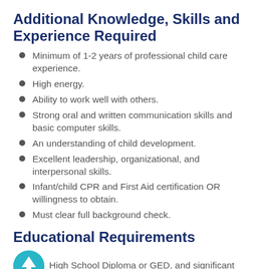Additional Knowledge, Skills and Experience Required
Minimum of 1-2 years of professional child care experience.
High energy.
Ability to work well with others.
Strong oral and written communication skills and basic computer skills.
An understanding of child development.
Excellent leadership, organizational, and interpersonal skills.
Infant/child CPR and First Aid certification OR willingness to obtain.
Must clear full background check.
Educational Requirements
High School Diploma or GED, and significant